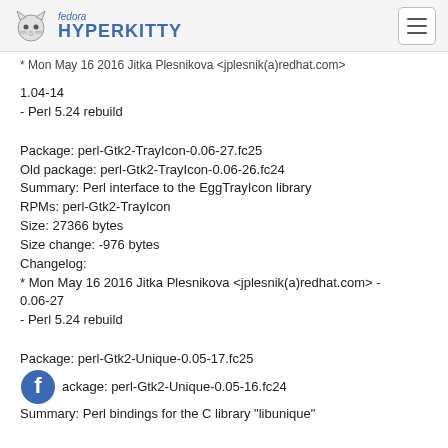fedora HYPERKITTY
* Mon May 16 2016 Jitka Plesnikova <jplesnik(a)redhat.com&gt; 1.04-14
- Perl 5.24 rebuild
Package: perl-Gtk2-TrayIcon-0.06-27.fc25
Old package: perl-Gtk2-TrayIcon-0.06-26.fc24
Summary: Perl interface to the EggTrayIcon library
RPMs: perl-Gtk2-TrayIcon
Size: 27366 bytes
Size change: -976 bytes
Changelog:
* Mon May 16 2016 Jitka Plesnikova <jplesnik(a)redhat.com&gt; - 0.06-27
- Perl 5.24 rebuild
Package: perl-Gtk2-Unique-0.05-17.fc25
Old package: perl-Gtk2-Unique-0.05-16.fc24
Summary: Perl bindings for the C library "libunique"